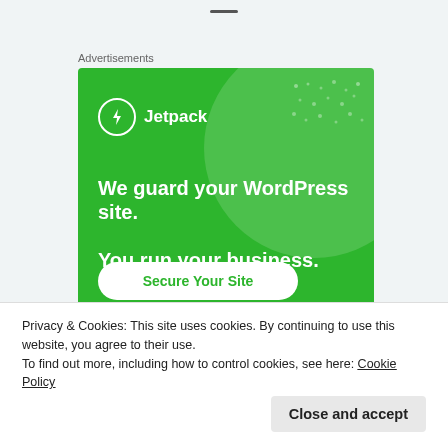[Figure (illustration): Jetpack advertisement banner on green background. Shows Jetpack logo (lightning bolt in circle) with text 'We guard your WordPress site. You run your business.' and a 'Secure Your Site' button. Decorative circle and dots in background.]
Advertisements
Privacy & Cookies: This site uses cookies. By continuing to use this website, you agree to their use.
To find out more, including how to control cookies, see here: Cookie Policy
Close and accept